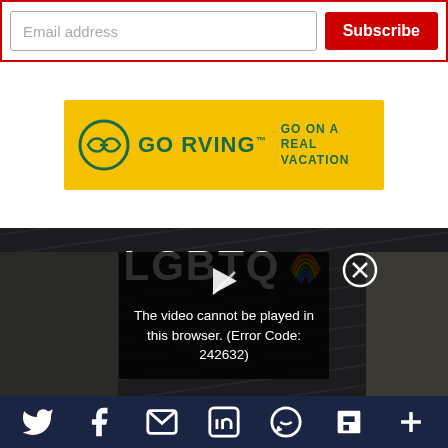[Figure (screenshot): Email subscribe bar with text input labeled 'Email address' and a red 'Subscribe' button, surrounded by a red border]
[Figure (illustration): GO RVing advertisement banner on yellow background with green logo and text 'GO RVING™ GO ON A REAL VACATION']
[Figure (screenshot): Dark background section with 'LGBTQ' title in white bold text and rainbow icon, overlaid by a video player showing error 'The video cannot be played in this browser. (Error Code: 242632)']
[Figure (screenshot): Social media share footer bar in dark navy with icons for Twitter, Facebook, Email, LinkedIn, WhatsApp, Flipboard, and More]